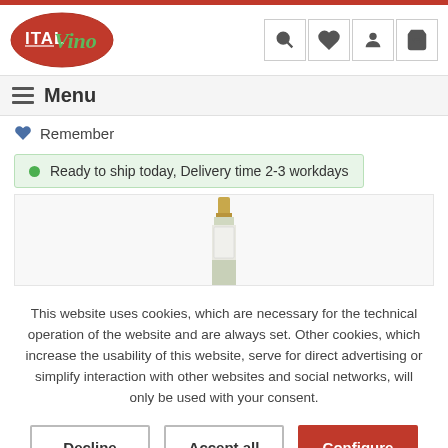[Figure (logo): ItalVino logo: red oval with white ITAL text and green cursive Vino text]
Menu
Remember
Ready to ship today, Delivery time 2-3 workdays
[Figure (photo): Top portion of a wine bottle with gold capsule and silver label visible]
This website uses cookies, which are necessary for the technical operation of the website and are always set. Other cookies, which increase the usability of this website, serve for direct advertising or simplify interaction with other websites and social networks, will only be used with your consent.
Decline
Accept all
Configure